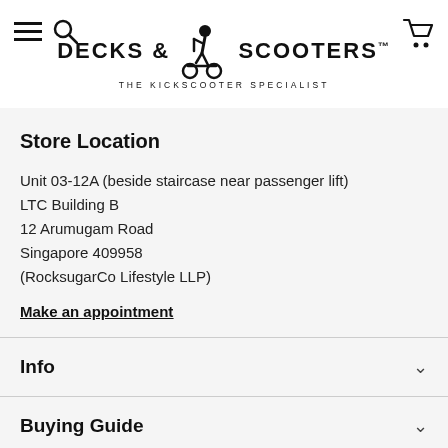[Figure (logo): Decks & Scooters logo with person riding a scooter silhouette, text 'DECKS & SCOOTERS™ THE KICKSCOOTER SPECIALIST']
Store Location
Unit 03-12A (beside staircase near passenger lift)
LTC Building B
12 Arumugam Road
Singapore 409958
(RocksugarCo Lifestyle LLP)
Make an appointment
Info
Buying Guide